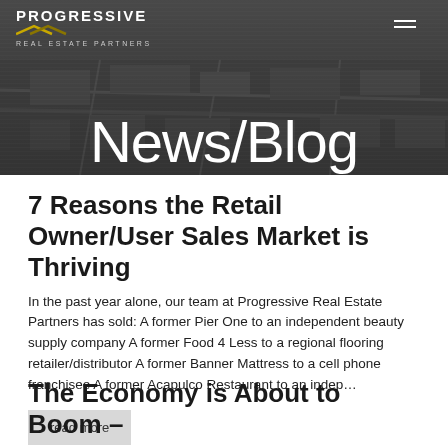[Figure (photo): Dark aerial photo of a suburban area used as a banner background for Progressive Real Estate Partners News/Blog page header]
PROGRESSIVE REAL ESTATE PARTNERS
News/Blog
7 Reasons the Retail Owner/User Sales Market is Thriving
In the past year alone, our team at Progressive Real Estate Partners has sold: A former Pier One to an independent beauty supply company A former Food 4 Less to a regional flooring retailer/distributor A former Banner Mattress to a cell phone franchisee A former Acapulco Restaurant to an indep…
read more
The Economy is About to Boom –